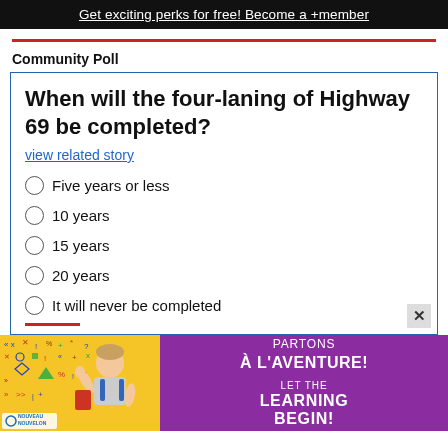Get exciting perks for free! Become a +member
Community Poll
When will the four-laning of Highway 69 be completed?
view related story
Five years or less
10 years
15 years
20 years
It will never be completed
[Figure (photo): Advertisement for Nouvelon featuring a child waving, yellow background with colourful symbols, purple background with text: PARTONS À L'AVENTURE! LET THE LEARNING BEGIN!]